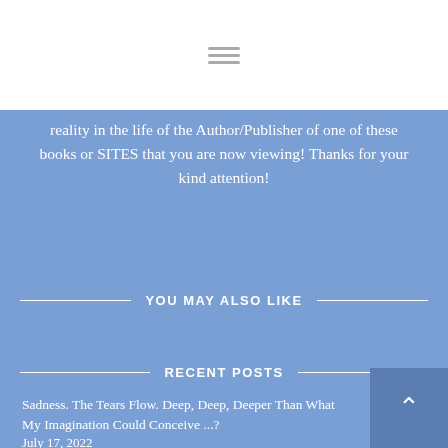[hamburger menu icon]
reality in the life of the Author/Publisher of one of these books or SITES that you are now viewing! Thanks for your kind attention!
YOU MAY ALSO LIKE
RECENT POSTS
Sadness. The Tears Flow. Deep, Deep, Deeper Than What My Imagination Could Conceive ...?
July 17, 2022